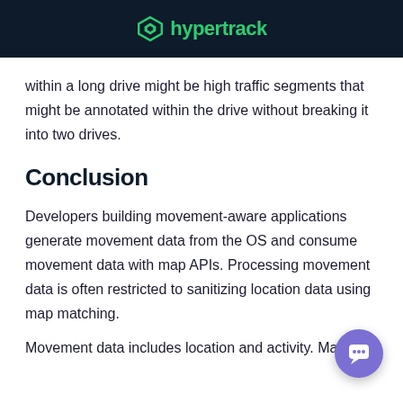hypertrack
within a long drive might be high traffic segments that might be annotated within the drive without breaking it into two drives.
Conclusion
Developers building movement-aware applications generate movement data from the OS and consume movement data with map APIs. Processing movement data is often restricted to sanitizing location data using map matching.
Movement data includes location and activity. Making…